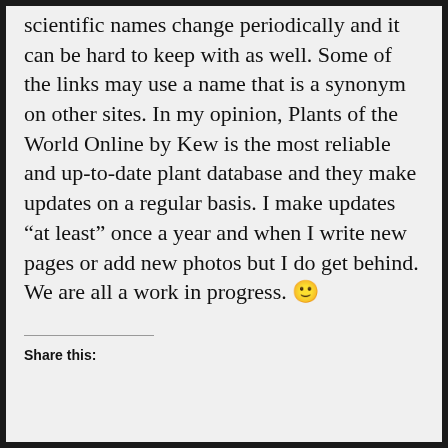scientific names change periodically and it can be hard to keep with as well. Some of the links may use a name that is a synonym on other sites. In my opinion, Plants of the World Online by Kew is the most reliable and up-to-date plant database and they make updates on a regular basis. I make updates “at least” once a year and when I write new pages or add new photos but I do get behind. We are all a work in progress. 🙂
Share this: